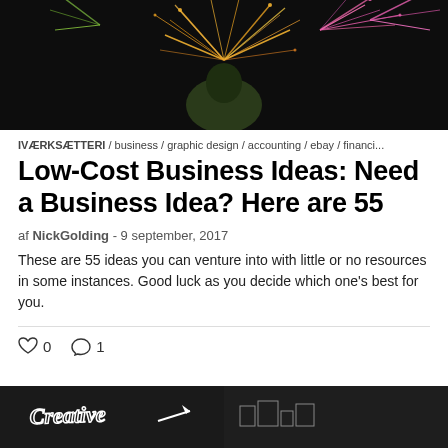[Figure (photo): Dark photo of a person viewed from behind, surrounded by fireworks sparks on black background]
IVÆRKSÆTTERI / business / graphic design / accounting / ebay / financi...
Low-Cost Business Ideas: Need a Business Idea? Here are 55
af NickGolding - 9 september, 2017
These are 55 ideas you can venture into with little or no resources in some instances. Good luck as you decide which one's best for you.
♡ 0   ○ 1
[Figure (photo): Partial image at bottom showing Creative text with arrow and illustration on dark background]